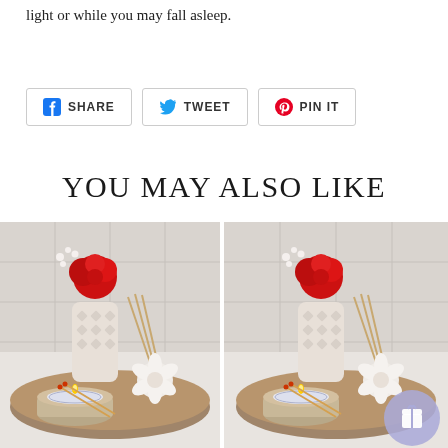light or while you may fall asleep.
[Figure (screenshot): Social share buttons: Facebook SHARE, Twitter TWEET, Pinterest PIN IT]
YOU MAY ALSO LIKE
[Figure (photo): Product photo: candle tin with rose and diffuser arrangement on wooden tray]
[Figure (photo): Product photo: same candle tin with rose and diffuser arrangement, with gift badge overlay]